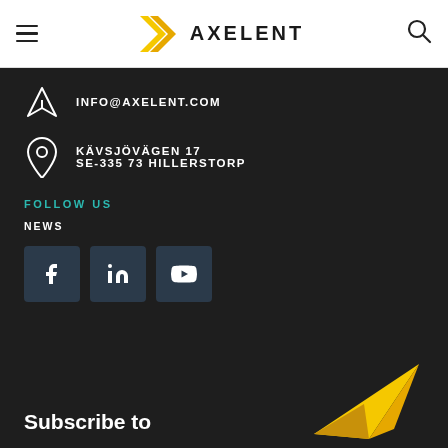[Figure (logo): Axelent logo with yellow X chevron and bold AXELENT text]
INFO@AXELENT.COM
KÄVSJÖVÄGEN 17
SE-335 73 HILLERSTORP
FOLLOW US
NEWS
[Figure (illustration): Social media icons: Facebook, LinkedIn, YouTube]
Subscribe to